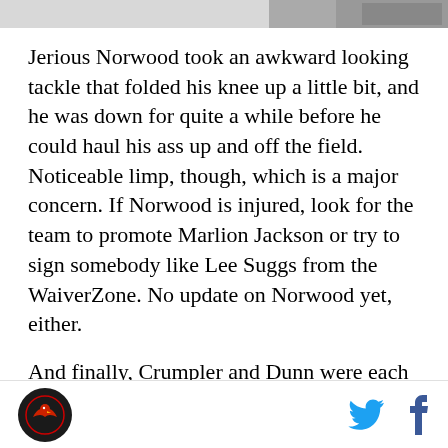[Figure (photo): Partial image at the top of the page, partially visible banner or photo strip with a small image on the right side]
Jerious Norwood took an awkward looking tackle that folded his knee up a little bit, and he was down for quite a while before he could haul his ass up and off the field. Noticeable limp, though, which is a major concern. If Norwood is injured, look for the team to promote Marlion Jackson or try to sign somebody like Lee Suggs from the WaiverZone. No update on Norwood yet, either.
And finally, Crumpler and Dunn were each shaken up but were able to return the game, so their injuries don't appear to be anything serious.
That's just not good at all. If we had beaten the Lions,
Logo | Twitter | Facebook